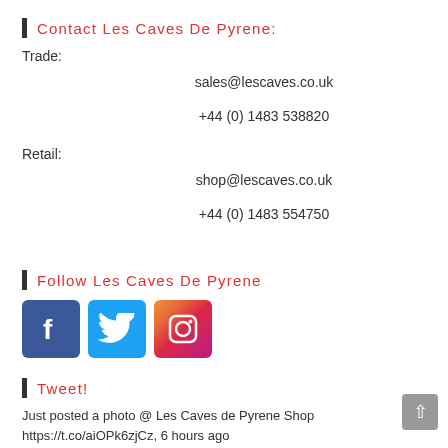Contact Les Caves De Pyrene:
Trade:
sales@lescaves.co.uk
+44 (0) 1483 538820
Retail:
shop@lescaves.co.uk
+44 (0) 1483 554750
Follow Les Caves De Pyrene
[Figure (logo): Social media icons: Facebook, Twitter, Instagram]
Tweet!
Just posted a photo @ Les Caves de Pyrene Shop https://t.co/aiOPk6zjCz, 6 hours ago